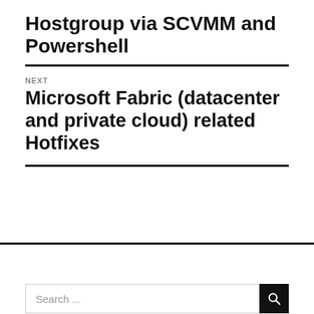Hostgroup via SCVMM and Powershell
NEXT
Microsoft Fabric (datacenter and private cloud) related Hotfixes
Search ...